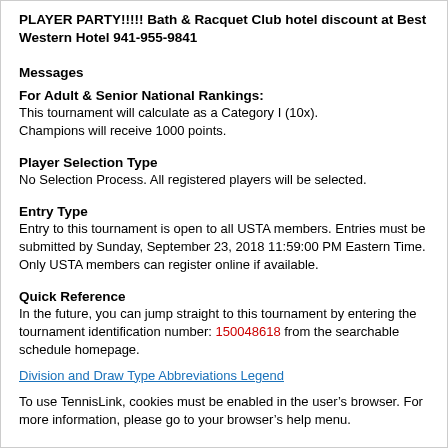PLAYER PARTY!!!!! Bath & Racquet Club hotel discount at Best Western Hotel 941-955-9841
Messages
For Adult & Senior National Rankings:
This tournament will calculate as a Category I (10x). Champions will receive 1000 points.
Player Selection Type
No Selection Process. All registered players will be selected.
Entry Type
Entry to this tournament is open to all USTA members. Entries must be submitted by Sunday, September 23, 2018 11:59:00 PM Eastern Time. Only USTA members can register online if available.
Quick Reference
In the future, you can jump straight to this tournament by entering the tournament identification number: 150048618 from the searchable schedule homepage.
Division and Draw Type Abbreviations Legend
To use TennisLink, cookies must be enabled in the user's browser. For more information, please go to your browser's help menu.